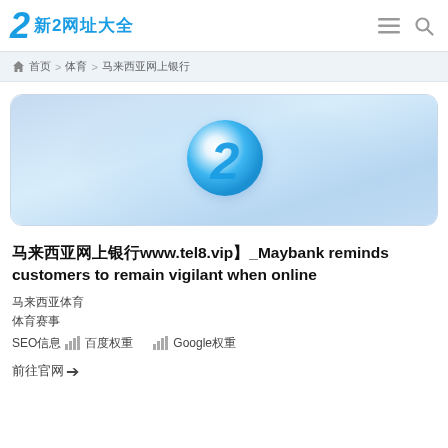新2网址大全
🏠 首页 > 体育 > 马来西亚网上银行
[Figure (logo): Banner with a circular blue '2' logo on a light blue gradient background]
马来西亚网上银行www.tel8.vip】_Maybank reminds customers to remain vigilant when online
马来西亚体育
体育赛事
SEO信息 📊 百度权重  📊 Google权重
前往官网→